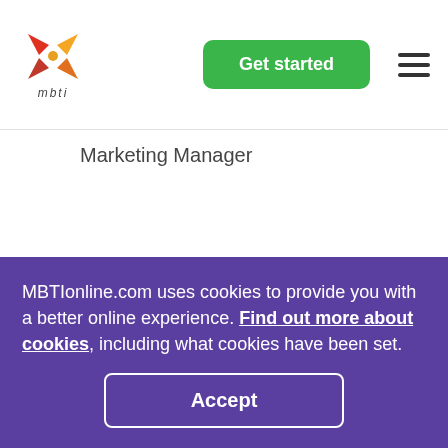mbti | Get started
Marketing Manager
If you ever take a literature or fiction
MBTIonline.com uses cookies to provide you with a better online experience. Find out more about cookies, including what cookies have been set.
Accept